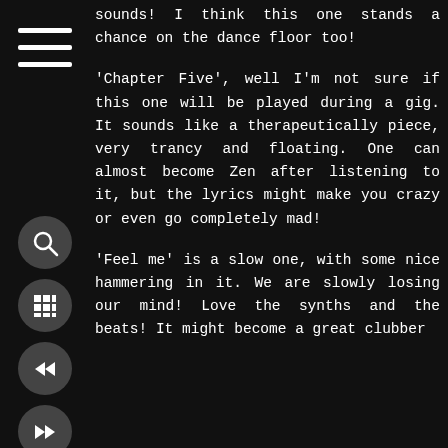[Figure (infographic): Hamburger menu icon (three horizontal white lines) on dark background]
sounds! I think this one stands a chance on the dance floor too!
[Figure (infographic): Search (magnifying glass) icon button, circular dark grey]
[Figure (infographic): Grid/apps icon button, circular dark grey]
'Chapter Five', well I'm not sure if this one will be played during a gig. It sounds like a therapeutically piece, very trancy and floating. One can almost become Zen after listening to it, but the lyrics might make you crazy or even go completely mad!
[Figure (infographic): Rewind/back icon button, circular dark grey]
[Figure (infographic): Fast forward icon button, circular dark grey]
'Feel me' is a slow one, with some nice hammering in it. We are slowly losing our mind! Love the synths and the beats! It might become a great clubber